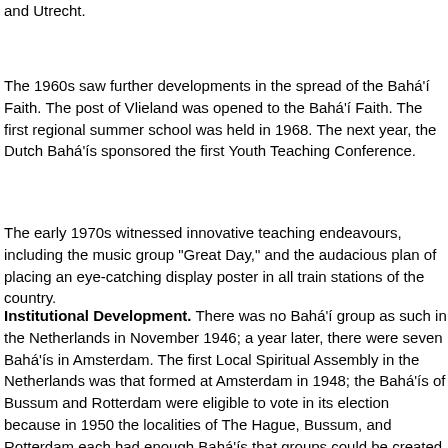and Utrecht.
The 1960s saw further developments in the spread of the Bahá'í Faith. The post of Vlieland was opened to the Bahá'í Faith. The first regional summer school was held in 1968. The next year, the Dutch Bahá'ís sponsored the first Youth Teaching Conference.
The early 1970s witnessed innovative teaching endeavours, including the music group "Great Day," and the audacious plan of placing an eye-catching display poster in all train stations of the country.
Institutional Development. There was no Bahá'í group as such in the Netherlands in November 1946; a year later, there were seven Bahá'ís in Amsterdam. The first Local Spiritual Assembly in the Netherlands was that formed at Amsterdam in 1948; the Bahá'ís of Bussum and Rotterdam were eligible to vote in its election because in 1950 the localities of The Hague, Bussum, and Rotterdam each had enough Bahá'ís that groups could be created, separate from the Bahá'í community of Amsterdam. The Assembly of The Hague was formed at Ridvan 1952. An unsuccessful attempt to form a Bahá'í group in Utrecht, in 1954.